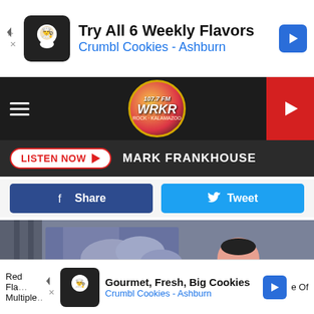[Figure (screenshot): Advertisement banner: Try All 6 Weekly Flavors - Crumbl Cookies - Ashburn with cookie icon and navigation arrow]
[Figure (screenshot): Website navigation bar with hamburger menu, WRKR radio station logo, and red play button]
LISTEN NOW  MARK FRANKHOUSE
Share  Tweet
[Figure (illustration): Illustrated person lying on bed looking at leg/knee, flat design style with blue and pink tones]
[Figure (screenshot): Advertisement banner: Gourmet, Fresh, Big Cookies - Crumbl Cookies - Ashburn with cookie icon]